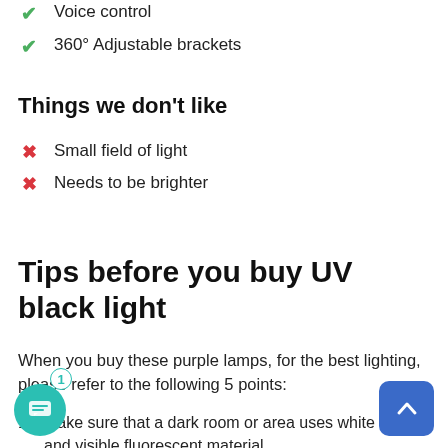Voice control
360° Adjustable brackets
Things we don't like
Small field of light
Needs to be brighter
Tips before you buy UV black light
When you buy these purple lamps, for the best lighting, please refer to the following 5 points:
Make sure that a dark room or area uses white fabric and visible fluorescent material.